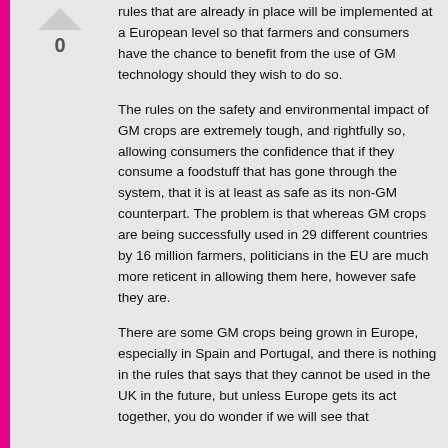rules that are already in place will be implemented at a European level so that farmers and consumers have the chance to benefit from the use of GM technology should they wish to do so.
The rules on the safety and environmental impact of GM crops are extremely tough, and rightfully so, allowing consumers the confidence that if they consume a foodstuff that has gone through the system, that it is at least as safe as its non-GM counterpart. The problem is that whereas GM crops are being successfully used in 29 different countries by 16 million farmers, politicians in the EU are much more reticent in allowing them here, however safe they are.
There are some GM crops being grown in Europe, especially in Spain and Portugal, and there is nothing in the rules that says that they cannot be used in the UK in the future, but unless Europe gets its act together, you do wonder if we will see that